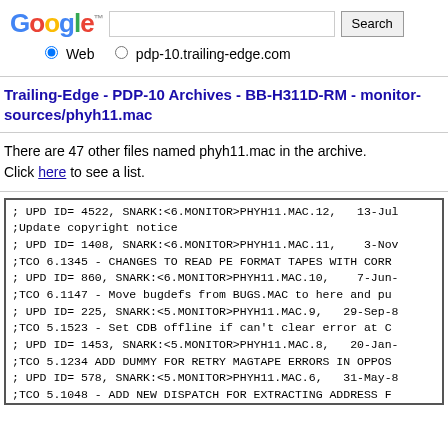[Figure (screenshot): Google search bar with logo, search input, Search button, and radio buttons for Web and pdp-10.trailing-edge.com]
Trailing-Edge - PDP-10 Archives - BB-H311D-RM - monitor-sources/phyh11.mac
There are 47 other files named phyh11.mac in the archive. Click here to see a list.
; UPD ID= 4522, SNARK:<6.MONITOR>PHYH11.MAC.12,  13-Jul
;Update copyright notice
; UPD ID= 1408, SNARK:<6.MONITOR>PHYH11.MAC.11,   3-Nov
;TCO 6.1345 - CHANGES TO READ PE FORMAT TAPES WITH CORR
; UPD ID= 860, SNARK:<6.MONITOR>PHYH11.MAC.10,   7-Jun-
;TCO 6.1147 - Move bugdefs from BUGS.MAC to here and pu
; UPD ID= 225, SNARK:<5.MONITOR>PHYH11.MAC.9,  29-Sep-8
;TCO 5.1523 - Set CDB offline if can't clear error at C
; UPD ID= 1453, SNARK:<5.MONITOR>PHYH11.MAC.8,  20-Jan-
;TCO 5.1234 ADD DUMMY FOR RETRY MAGTAPE ERRORS IN OPPOS
; UPD ID= 578, SNARK:<5.MONITOR>PHYH11.MAC.6,  31-May-8
;TCO 5.1048 - ADD NEW DISPATCH FOR EXTRACTING ADDRESS F
; UPD ID= 482, SNARK:<4.1.MONITOR>PHYH11.MAC.64,  26-Ap
;TCO 4.1.1149 - CALL LOWER LEVEL ROUTINES FOR HUNG CALL
; UPD ID= 361, SNARK:<4.1.MONITOR>PHYH11.MAC.63,  26-Ma